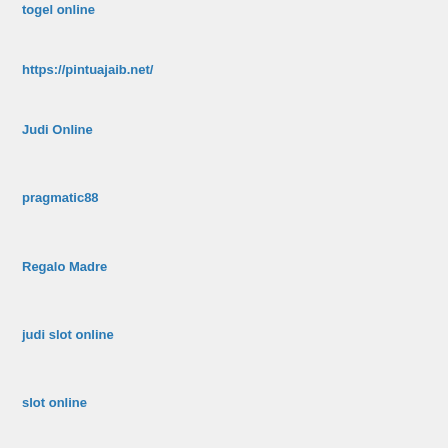togel online
https://pintuajaib.net/
Judi Online
pragmatic88
Regalo Madre
judi slot online
slot online